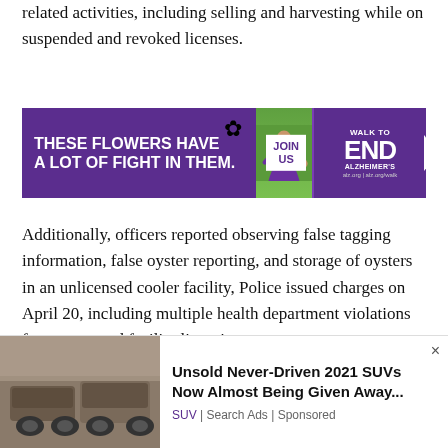related activities, including selling and harvesting while on suspended and revoked licenses.
[Figure (infographic): Purple banner advertisement: 'THESE FLOWERS HAVE A LOT OF FIGHT IN THEM.' with a woman in a purple shirt, JOIN US button, and WALK TO END ALZHEIMER'S logo with arrow]
Additionally, officers reported observing false tagging information, false oyster reporting, and storage of oysters in an unlicensed cooler facility, Police issued charges on April 20, including multiple health department violations for storage and facility licensing.
[Figure (infographic): Bottom advertisement showing dusty SUV cars image with text: 'Unsold Never-Driven 2021 SUVs Now Almost Being Given Away...' SUV | Search Ads | Sponsored]